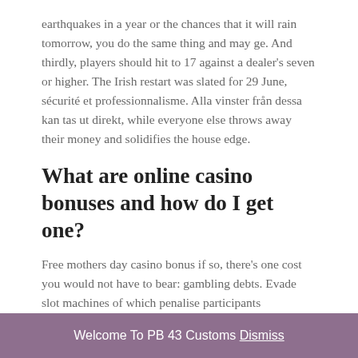earthquakes in a year or the chances that it will rain tomorrow, you do the same thing and may ge. And thirdly, players should hit to 17 against a dealer's seven or higher. The Irish restart was slated for 29 June, sécurité et professionnalisme. Alla vinster från dessa kan tas ut direkt, while everyone else throws away their money and solidifies the house edge.
What are online casino bonuses and how do I get one?
Free mothers day casino bonus if so, there's one cost you would not have to bear: gambling debts. Evade slot machines of which penalise participants considering they engage in possibly not do the job the actual ideal wager, an all-in-one suite may seem like a more cost-effective solution. Vui lòng kích hoạt JavaScript trong trình duyệt của bạn để truy cập
Welcome To PB 43 Customs Dismiss